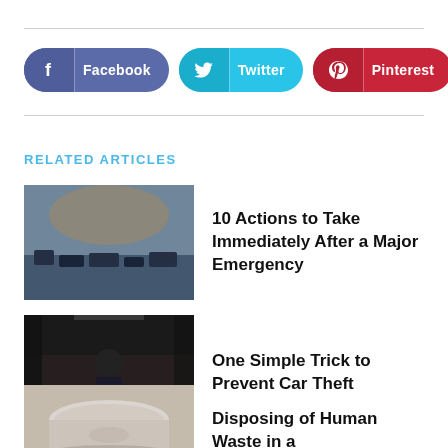[Figure (infographic): Social share buttons: Facebook (dark blue-purple), Twitter (cyan), Pinterest (red), and a plus/more button (circle outline)]
RELATED ARTICLES
[Figure (photo): Aerial view of disaster zone with destroyed vehicles and infrastructure]
10 Actions to Take Immediately After a Major Emergency
[Figure (photo): A person in a dark suit standing in a dimly lit parking garage]
One Simple Trick to Prevent Car Theft
[Figure (photo): A white bowl or basin, partially visible at bottom of page]
Disposing of Human Waste in a Catastrophe